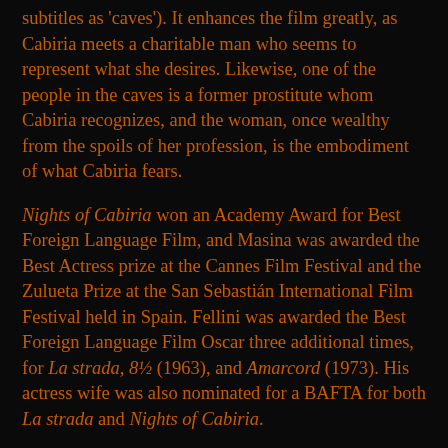subtitles as 'caves'). It enhances the film greatly, as Cabiria meets a charitable man who seems to represent what she desires. Likewise, one of the people in the caves is a former prostitute whom Cabiria recognizes, and the woman, once wealthy from the spoils of her profession, is the embodiment of what Cabiria fears.
Nights of Cabiria won an Academy Award for Best Foreign Language Film, and Masina was awarded the Best Actress prize at the Cannes Film Festival and the Zulueta Prize at the San Sebastián International Film Festival held in Spain. Fellini was awarded the Best Foreign Language Film Oscar three additional times, for La strada, 8½ (1963), and Amarcord (1973). His actress wife was also nominated for a BAFTA for both La strada and Nights of Cabiria.
Nights of Cabiria editor Leo Catozzo, who had worked on other films with Fellini, designed and patented the CIR-Catozzo Self-Perforating Adhesive Tape Film Splicer (sometimes called the CIRO and/or guillotine splicer). He was awarded an Academy Award for Technical Achievement in 1990.